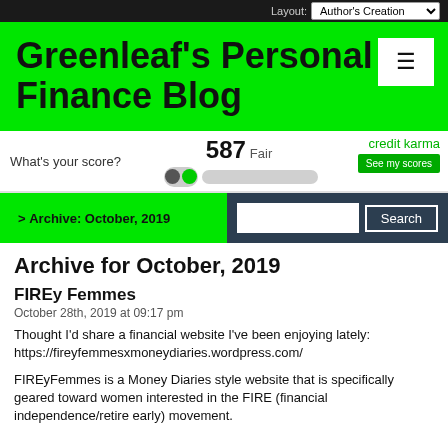Layout: Author's Creation
Greenleaf's Personal Finance Blog
[Figure (infographic): Credit Karma advertisement banner showing 'What's your score?' with a score of 587 Fair, a progress toggle bar, and a 'See my scores' button]
> Archive: October, 2019
Archive for October, 2019
FIREy Femmes
October 28th, 2019 at 09:17 pm
Thought I'd share a financial website I've been enjoying lately: https://fireyfemmesxmoneydiaries.wordpress.com/
FIREyFemmes is a Money Diaries style website that is specifically geared toward women interested in the FIRE (financial independence/retire early) movement.